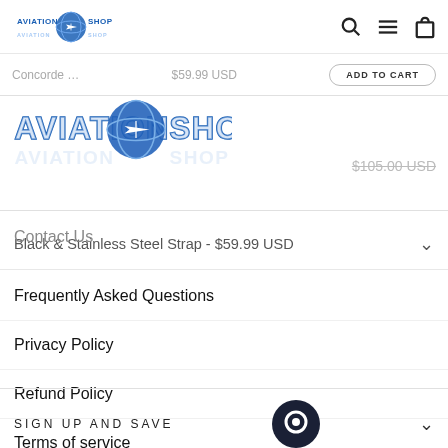AVIATION SHOP [logo] [search icon] [menu icon] [cart icon]
Concorde ... $59.99 USD ADD TO CART
[Figure (logo): Aviation Shop logo - large blue text with airplane globe graphic]
$105.00 USD (strikethrough)
Black & Stainless Steel Strap - $59.99 USD
Contact Us
Frequently Asked Questions
Privacy Policy
Refund Policy
Terms of service
SIGN UP AND SAVE